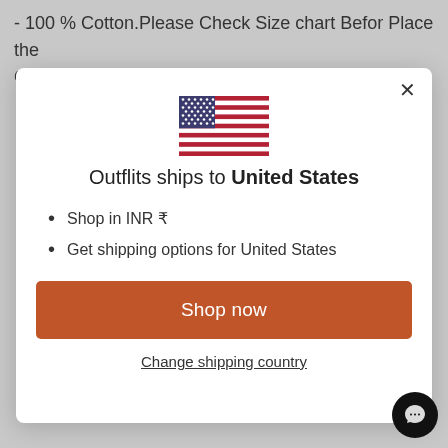- 100 % Cotton.Please Check Size chart Befor Place the Order
[Figure (illustration): US flag emoji/icon centered in modal]
Outflits ships to United States
Shop in INR ₹
Get shipping options for United States
Shop now
Change shipping country